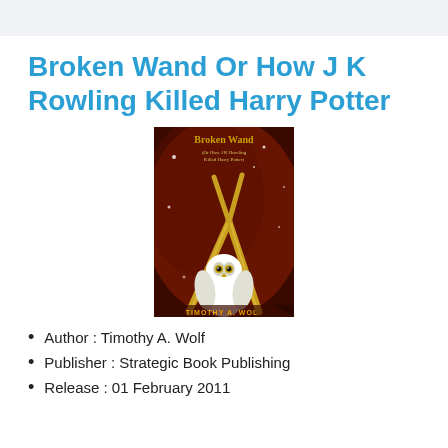Broken Wand Or How J K Rowling Killed Harry Potter
[Figure (photo): Book cover of 'Broken Wand (Or How J K Rowling Killed Harry Potter)' by Timothy A. Wolf, showing two golden broken wands crossed over a white owl on a dark red background.]
Author : Timothy A. Wolf
Publisher : Strategic Book Publishing
Release : 01 February 2011